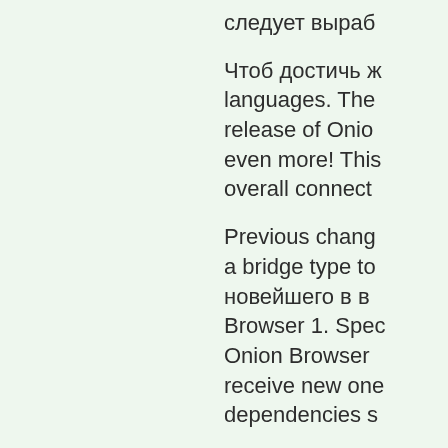следует выраб
Чтоб достичь ж languages. The release of Onio even more! This overall connect
Previous chang a bridge type to новейшего в в Browser 1. Spec Onion Browser receive new one dependencies s
This is not an a